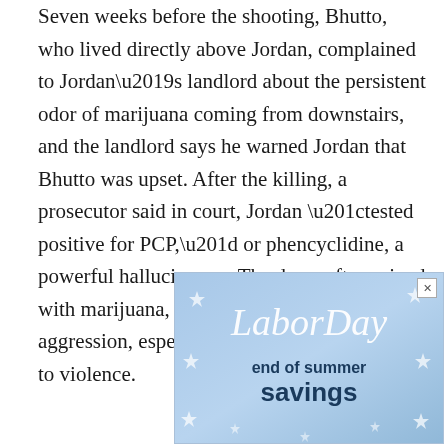Seven weeks before the shooting, Bhutto, who lived directly above Jordan, complained to Jordan’s landlord about the persistent odor of marijuana coming from downstairs, and the landlord says he warned Jordan that Bhutto was upset. After the killing, a prosecutor said in court, Jordan “tested positive for PCP,” or phencyclidine, a powerful hallucinogen. The drug, often mixed with marijuana, can induce frenzied aggression, especially in users who are prone to violence.
[Figure (other): Advertisement banner for Labor Day end of summer savings with stars on a light blue background]